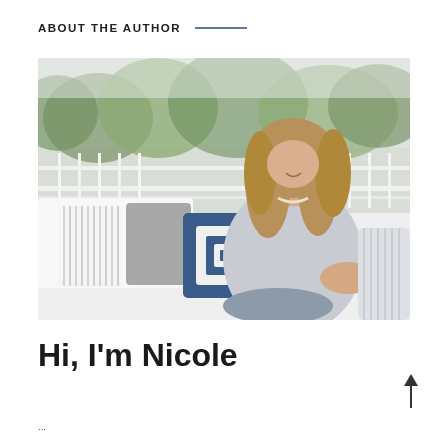ABOUT THE AUTHOR
[Figure (photo): A smiling woman with long curly hair sitting on a white porch swing/daybed surrounded by decorative pillows including a striped pillow and a blue crocheted square pillow. She is wearing a light grey/blue tie-dye blouse and a pearl necklace. Trees and greenery are visible in the background through white railings.]
Hi, I'm Nicole
...